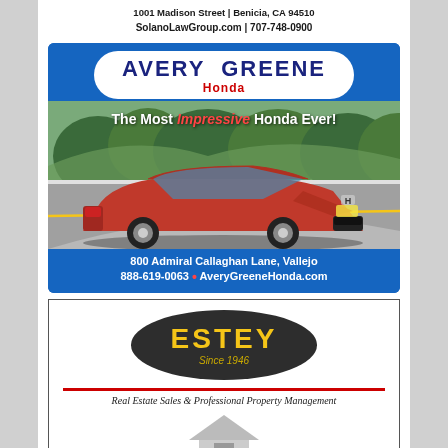1001 Madison Street | Benicia, CA 94510
SolanoLawGroup.com | 707-748-0900
[Figure (advertisement): Avery Greene Honda dealership advertisement with logo pill, red Honda car on a road, tagline 'The Most Impressive Honda Ever!', address 800 Admiral Callaghan Lane, Vallejo, phone 888-619-0063, website AveryGreeneHonda.com]
[Figure (advertisement): Estey Real Estate advertisement with dark oval logo showing 'ESTEY Since 1946', red horizontal line, italic text 'Real Estate Sales & Professional Property Management', and a partial house image at the bottom]